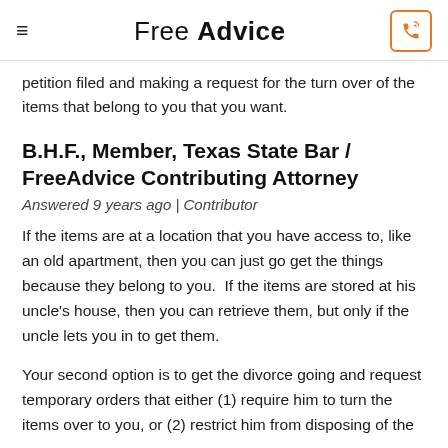Free Advice
petition filed and making a request for the turn over of the items that belong to you that you want.
B.H.F., Member, Texas State Bar / FreeAdvice Contributing Attorney
Answered 9 years ago | Contributor
If the items are at a location that you have access to, like an old apartment, then you can just go get the things because they belong to you.  If the items are stored at his uncle's house, then you can retrieve them, but only if the uncle lets you in to get them.
Your second option is to get the divorce going and request temporary orders that either (1) require him to turn the items over to you, or (2) restrict him from disposing of the